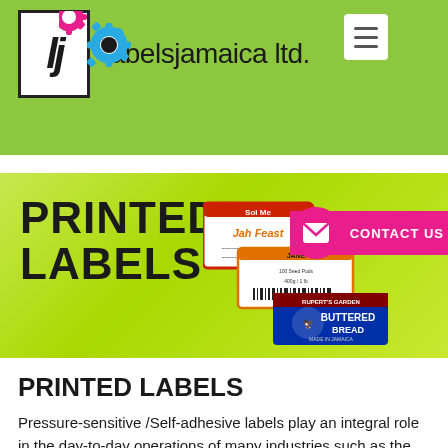[Figure (logo): Labels Jamaica Ltd. logo with LJ lettermark, gear icons, and company name on lime green header background]
[Figure (infographic): Printed Labels banner with large bold text 'PRINTED LABELS' on lime green gradient background with sample label images and a pink 'CONTACT US' button]
PRINTED LABELS
Pressure-sensitive /Self-adhesive labels play an integral role in the day-to-day operations of many industries such as the